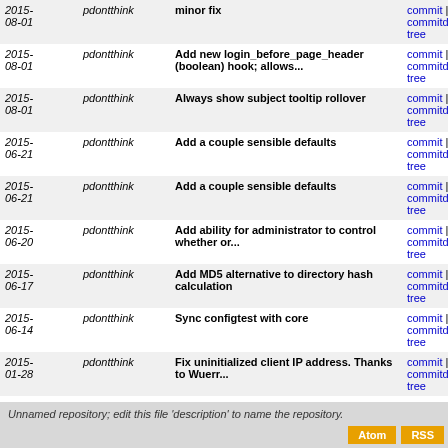| Date | Author | Message | Links |
| --- | --- | --- | --- |
| 2015-08-01 | pdontthink | minor fix | commit | commitdiff | tree |
| 2015-08-01 | pdontthink | Add new login_before_page_header (boolean) hook; allows... | commit | commitdiff | tree |
| 2015-08-01 | pdontthink | Always show subject tooltip rollover | commit | commitdiff | tree |
| 2015-06-21 | pdontthink | Add a couple sensible defaults | commit | commitdiff | tree |
| 2015-06-21 | pdontthink | Add a couple sensible defaults | commit | commitdiff | tree |
| 2015-06-20 | pdontthink | Add ability for administrator to control whether or... | commit | commitdiff | tree |
| 2015-06-17 | pdontthink | Add MD5 alternative to directory hash calculation | commit | commitdiff | tree |
| 2015-06-14 | pdontthink | Sync configtest with core | commit | commitdiff | tree |
| 2015-01-28 | pdontthink | Fix uninitialized client IP address. Thanks to Wuerr... | commit | commitdiff | tree |
| 2015-01-19 | pdontthink | Fix PHP notice - this function is called statically... | commit | commitdiff | tree |
| 2015-01-09 | pdontthink | Make sure the correct identity is used for list command... | commit | commitdiff | tree |
next
Unnamed repository; edit this file 'description' to name the repository.